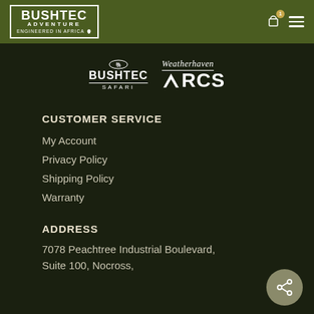[Figure (logo): Bushtec Adventure - Engineered in Africa logo in white on olive green header bar]
[Figure (logo): Bushtec Safari logo (elephant icon above text)]
[Figure (logo): Weatherhaven RCS logo with chevron icon]
CUSTOMER SERVICE
My Account
Privacy Policy
Shipping Policy
Warranty
ADDRESS
7078 Peachtree Industrial Boulevard, Suite 100, Nocross,